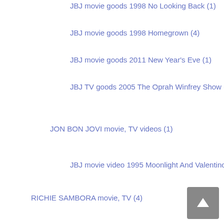JBJ movie goods 1998 No Looking Back (1)
JBJ movie goods 1998 Homegrown (4)
JBJ movie goods 2011 New Year's Eve (1)
JBJ TV goods 2005 The Oprah Winfrey Show (1)
JON BON JOVI movie, TV videos (1)
JBJ movie video 1995 Moonlight And Valentino (1)
RICHIE SAMBORA movie, TV (4)
RS video 2007 (1)
RICHIE SAMBORA movie, TV videos (1)
RS movie video 2001 On The Line (1)
RICHIE SAMBORA movie, TV goods (2)
RS movie goods 2007 (1)
RS movie goods 2002 On The Line (1)
books & magazines (109)
Japanese magazines (31)
BURRN! (7)
BURRN! 2014 (2)